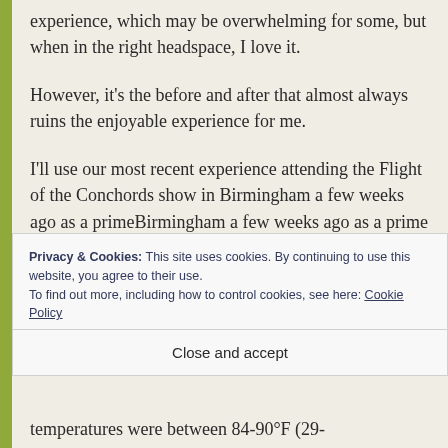experience, which may be overwhelming for some, but when in the right headspace, I love it.
However, it's the before and after that almost always ruins the enjoyable experience for me.
I'll use our most recent experience attending the Flight of the Conchords show in Birmingham a few weeks ago as a prime
Privacy & Cookies: This site uses cookies. By continuing to use this website, you agree to their use.
To find out more, including how to control cookies, see here: Cookie Policy
Close and accept
temperatures were between 84-90°F (29-